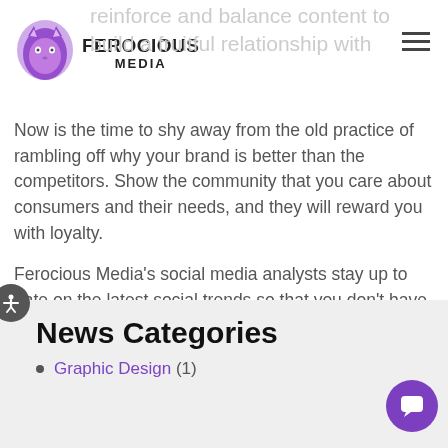Ferocious Media
Now is the time to shy away from the old practice of rambling off why your brand is better than the competitors. Show the community that you care about consumers and their needs, and they will reward you with loyalty.
Ferocious Media's social media analysts stay up to date on the latest social trends so that you don't have to! Learn more about Ferocious Media services by visiting our website today!
News Categories
Graphic Design (1)